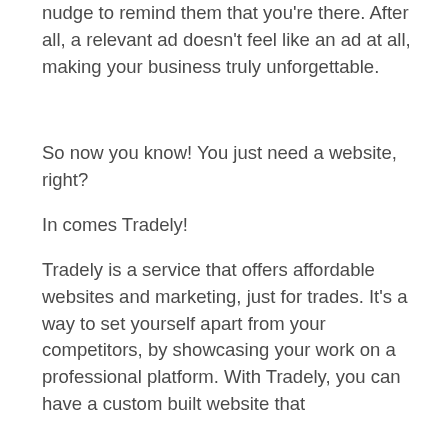nudge to remind them that you're there. After all, a relevant ad doesn't feel like an ad at all, making your business truly unforgettable.
So now you know! You just need a website, right?
In comes Tradely!
Tradely is a service that offers affordable websites and marketing, just for trades. It's a way to set yourself apart from your competitors, by showcasing your work on a professional platform. With Tradely, you can have a custom built website that